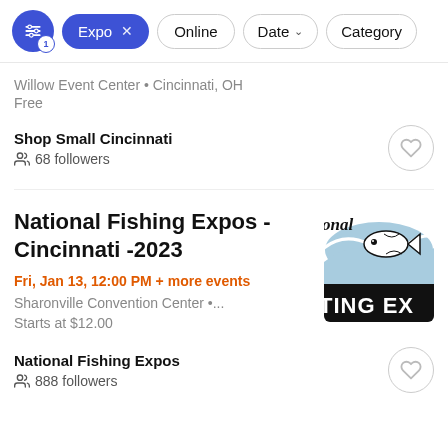Filter bar with filter icon (1 active), Expo ×, Online, Date ↓, Category
Willow Event Center • Cincinnati, OH
Free
Shop Small Cincinnati
68 followers
National Fishing Expos - Cincinnati -2023
Fri, Jan 13, 12:00 PM + more events
Sharonville Convention Center •...
Starts at $12.00
National Fishing Expos
888 followers
[Figure (logo): National Fishing Expos logo showing a fish jumping over a wave, with text 'TING EX' visible (cropped)]